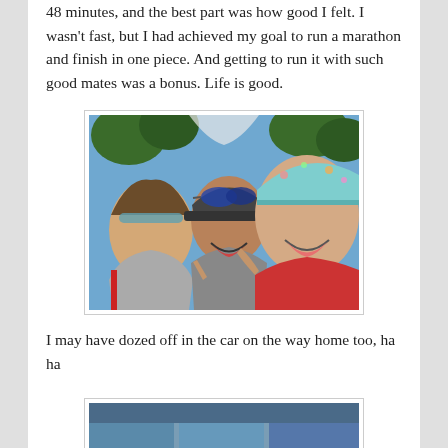48 minutes, and the best part was how good I felt. I wasn't fast, but I had achieved my goal to run a marathon and finish in one piece. And getting to run it with such good mates was a bonus. Life is good.
[Figure (photo): A selfie photo of three people smiling and laughing outdoors after a marathon run. Two women and one man, wearing running caps and athletic gear, with trees and blue sky in the background.]
I may have dozed off in the car on the way home too, ha ha
[Figure (photo): A partially visible photo at the bottom of the page, showing what appears to be a car interior or post-race scene.]